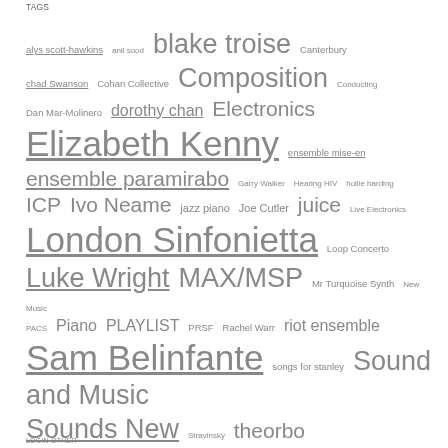TAGS
alys scott-hawkins anil sood blake troise Canterbury chad Swanson Cohan Collective Composition Conducting Dan Mar-Molinero dorothy chan Electronics Elizabeth Kenny ensemble mise-en ensemble paramirabo Garry Walker Hearing HIV hollie harding ICP Ivo Neame jazz piano Joe Cutler juice Live Electronics London Sinfonietta Loop Concerto Luke Wright MAX/MSP Mr Turquoise Synth New Music PACS Piano PLAYLIST PRSF Rachel Warr riot ensemble Sam Belinfante songs for stanley Sound and Music Sounds New Stravinsky theorbo Turner Sims University of Southampton Music Department workers union ensemble Yshani Perinpanayagam
LOGIN OTHER